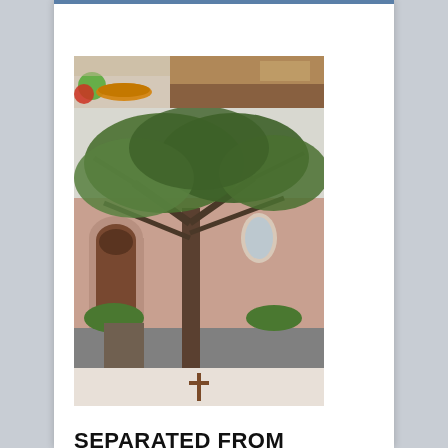[Figure (photo): Composite image: top-left shows small items on a colorful background, top-right shows interior brown ceiling/wall, main image shows exterior of a pink Spanish-style church building with large oak trees in front, bottom strip shows a wooden cross on a light background.]
SEPARATED FROM THE WORLD BY CHOICE
by James Gage | Feature |